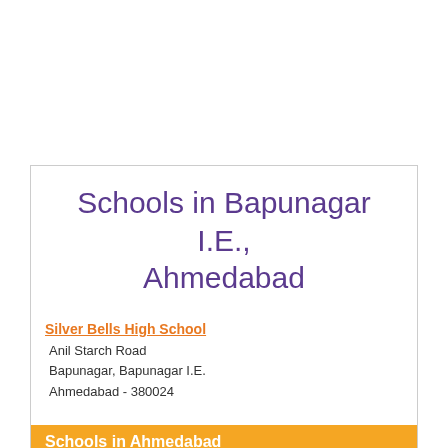Schools in Bapunagar I.E., Ahmedabad
Silver Bells High School
Anil Starch Road
Bapunagar, Bapunagar I.E.
Ahmedabad - 380024
Schools in Ahmedabad
» Schools in Behrampura
» Schools in Bopal